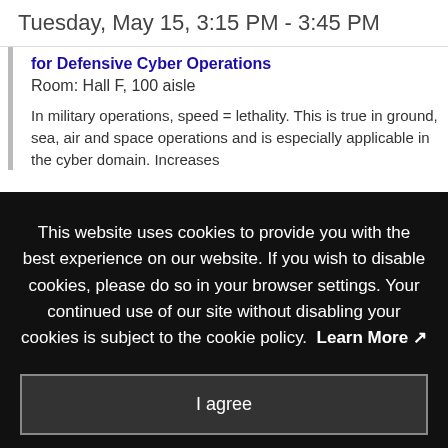Tuesday, May 15, 3:15 PM - 3:45 PM
for Defensive Cyber Operations
Room: Hall F, 100 aisle
In military operations, speed = lethality. This is true in ground, sea, air and space operations and is especially applicable in the cyber domain. Increases
This website uses cookies to provide you with the best experience on our website. If you wish to disable cookies, please do so in your browser settings. Your continued use of our site without disabling your cookies is subject to the cookie policy. Learn More
I agree
Dan Lonin
Speaker